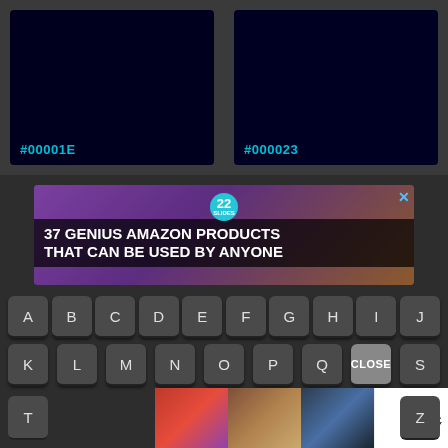[Figure (other): Two dark navy color swatches side by side labeled #00001E and #000023]
[Figure (other): Advertisement banner: 37 GENIUS AMAZON PRODUCTS THAT CAN BE USED BY ANYONE, with purple headphones image and '22' badge, close X button]
[Figure (other): On-screen keyboard rows showing letters A-J, K-S with CLOSE button, and T, Z keys with bottom Ulta Beauty advertisement strip showing makeup photos and SHOP NOW button]